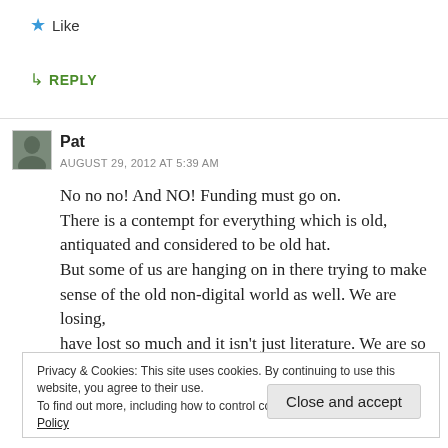★ Like
↳ REPLY
Pat
AUGUST 29, 2012 AT 5:39 AM
No no no! And NO! Funding must go on. There is a contempt for everything which is old, antiquated and considered to be old hat. But some of us are hanging on in there trying to make sense of the old non-digital world as well. We are losing, have lost so much and it isn't just literature. We are so
Privacy & Cookies: This site uses cookies. By continuing to use this website, you agree to their use.
To find out more, including how to control cookies, see here: Cookie Policy
Close and accept
glue that keeps people, people